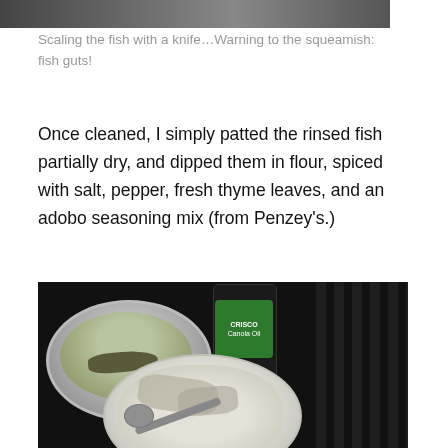[Figure (photo): Top portion of a photo showing fish being scaled with a knife]
Scaling the fish with a knife…Warning to the squeamish: fish guts!
Once cleaned, I simply patted the rinsed fish partially dry, and dipped them in flour, spiced with salt, pepper, fresh thyme leaves, and an adobo seasoning mix (from Penzey's.)
[Figure (photo): Photo of a bowl with fish, a bottle of canola oil, and a plate of flour-coated fish with a spoon, on a dark background]